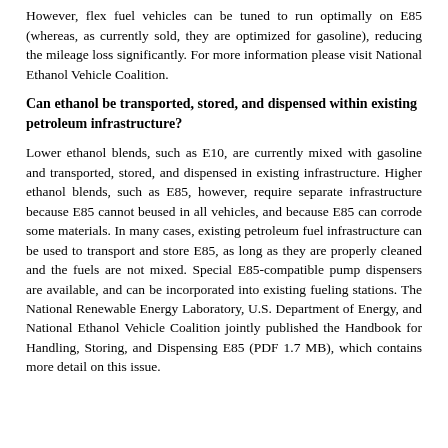However, flex fuel vehicles can be tuned to run optimally on E85 (whereas, as currently sold, they are optimized for gasoline), reducing the mileage loss significantly. For more information please visit National Ethanol Vehicle Coalition.
Can ethanol be transported, stored, and dispensed within existing petroleum infrastructure?
Lower ethanol blends, such as E10, are currently mixed with gasoline and transported, stored, and dispensed in existing infrastructure. Higher ethanol blends, such as E85, however, require separate infrastructure because E85 cannot beused in all vehicles, and because E85 can corrode some materials. In many cases, existing petroleum fuel infrastructure can be used to transport and store E85, as long as they are properly cleaned and the fuels are not mixed. Special E85-compatible pump dispensers are available, and can be incorporated into existing fueling stations. The National Renewable Energy Laboratory, U.S. Department of Energy, and National Ethanol Vehicle Coalition jointly published the Handbook for Handling, Storing, and Dispensing E85 (PDF 1.7 MB), which contains more detail on this issue.